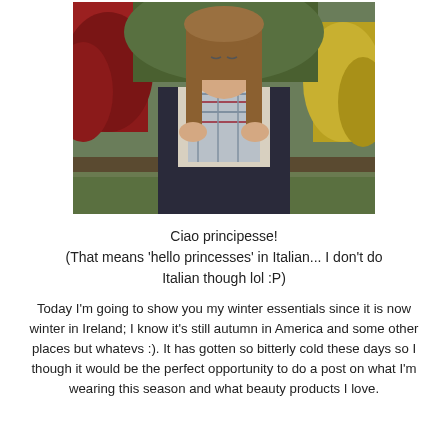[Figure (photo): A young girl with long brown hair wearing a dark puffer jacket and a plaid scarf, standing outdoors in front of red and yellow-green bushes/shrubs, looking downward while holding her scarf.]
Ciao principesse! (That means 'hello princesses' in Italian... I don't do Italian though lol :P)
Today I'm going to show you my winter essentials since it is now winter in Ireland; I know it's still autumn in America and some other places but whatevs :). It has gotten so bitterly cold these days so I though it would be the perfect opportunity to do a post on what I'm wearing this season and what beauty products I love.